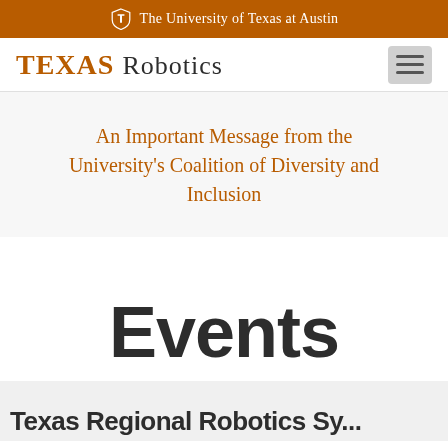The University of Texas at Austin
TEXAS Robotics
An Important Message from the University's Coalition of Diversity and Inclusion
Events
Texas Regional Robotics Symposium